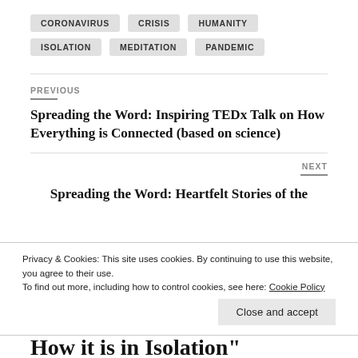CORONAVIRUS
CRISIS
HUMANITY
ISOLATION
MEDITATION
PANDEMIC
PREVIOUS
Spreading the Word: Inspiring TEDx Talk on How Everything is Connected (based on science)
NEXT
Spreading the Word: Heartfelt Stories of the
Privacy & Cookies: This site uses cookies. By continuing to use this website, you agree to their use.
To find out more, including how to control cookies, see here: Cookie Policy
Close and accept